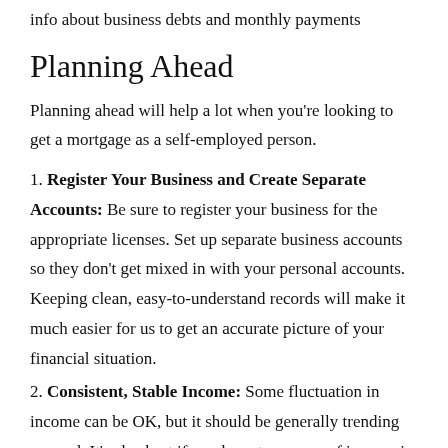info about business debts and monthly payments
Planning Ahead
Planning ahead will help a lot when you're looking to get a mortgage as a self-employed person.
1. Register Your Business and Create Separate Accounts: Be sure to register your business for the appropriate licenses. Set up separate business accounts so they don't get mixed in with your personal accounts. Keeping clean, easy-to-understand records will make it much easier for us to get an accurate picture of your financial situation.
2. Consistent, Stable Income: Some fluctuation in income can be OK, but it should be generally trending upward. It's also best if you have two years of income in the same industry (there may be some